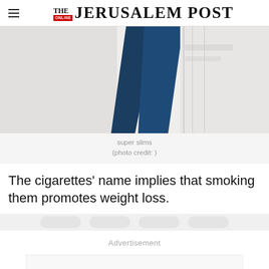THE JERUSALEM POST
[Figure (photo): Close-up of super slim cigarette packages, showing slim tall boxes with blue and white coloring]
super slims
(photo credit: )
The cigarettes' name implies that smoking them promotes weight loss.
Advertisement